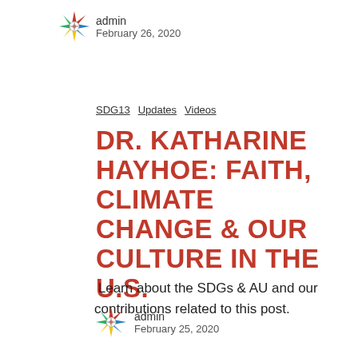[Figure (logo): Colorful compass star logo at top]
admin
February 26, 2020
SDG13  Updates  Videos
DR. KATHARINE HAYHOE: FAITH, CLIMATE CHANGE & OUR CULTURE IN THE U.S.
Learn about the SDGs & AU and our contributions related to this post.
[Figure (logo): Colorful compass star logo at bottom]
admin
February 25, 2020